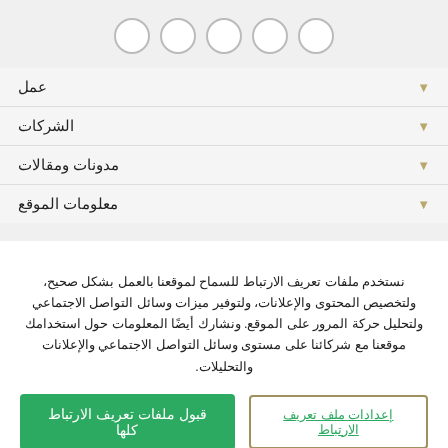[Figure (other): Row of circular icon buttons at the top of a navigation UI]
عمل
الشركات
مدونات ومقالات
معلومات الموقع
نستخدم ملفات تعريف الارتباط للسماح لموقعنا بالعمل بشكل صحيح، ولتخصيص المحتوى والإعلانات، ولتوفير ميزات وسائل التواصل الاجتماعي ولتحليل حركة المرور على الموقع. ونشارك أيضًا المعلومات حول استخدامك موقعنا مع شركائنا على مستوى وسائل التواصل الاجتماعي والإعلانات والتحليلات.
قبول ملفات تعريف الارتباط كلها
إعدادات ملف تعريف الارتباط